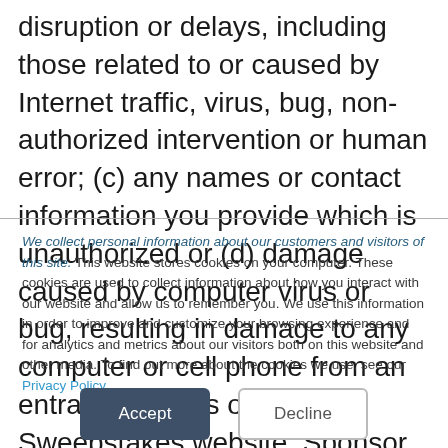disruption or delays, including those related to or caused by Internet traffic, virus, bug, non-authorized intervention or human error; (c) any names or contact information you provide which is unauthorized or (d) damage caused by computer virus or bug, resulting in damage to any computer or cell phone from an entrant's access or the Sweepstakes website. Sponsor is
We collect personal information about our customers and visitors of this site. This website stores cookies on your computer. These cookies are used to collect information about how you interact with our website and allow us to remember you. We use this information in order to improve and customize your browsing experience and for analytics and metrics about our visitors both on this website and other media. To find out more about the cookies we use, see our Privacy Policy.